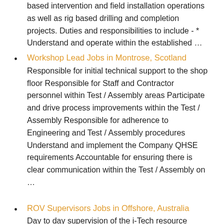based intervention and field installation operations as well as rig based drilling and completion projects. Duties and responsibilities to include - * Understand and operate within the established …
Workshop Lead Jobs in Montrose, Scotland
Responsible for initial technical support to the shop floor Responsible for Staff and Contractor personnel within Test / Assembly areas Participate and drive process improvements within the Test / Assembly Responsible for adherence to Engineering and Test / Assembly procedures Understand and implement the Company QHSE requirements Accountable for ensuring there is clear communication within the Test / Assembly on
…
ROV Supervisors Jobs in Offshore, Australia
Day to day supervision of the i-Tech resource